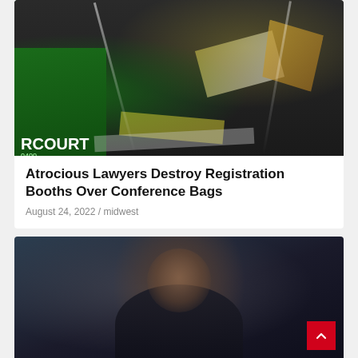[Figure (photo): Destroyed registration booths with debris scattered on the ground, a green banner visible on the left reading 'COURT', yellow tape and papers strewn across a dark floor, bright lights illuminating the chaos. Red badge reading 'CITY BEAT' in bottom left.]
Atrocious Lawyers Destroy Registration Booths Over Conference Bags
August 24, 2022 / midwest
[Figure (photo): A dark-skinned man in a dark coat touching his face/chin thoughtfully, photographed against a blurred dark blue background. A red scroll-to-top button is visible in the bottom right corner.]